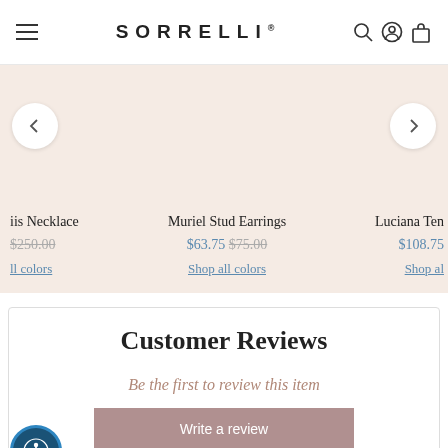SORRELLI
iis Necklace $250.00 Shop all colors
Muriel Stud Earrings $63.75 $75.00 Shop all colors
Luciana Ten $108.75 Shop al
Customer Reviews
Be the first to review this item
Write a review